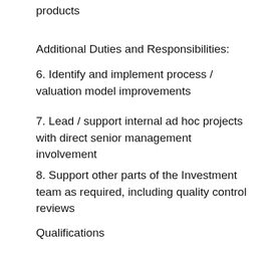products
Additional Duties and Responsibilities:
6. Identify and implement process / valuation model improvements
7. Lead / support internal ad hoc projects with direct senior management involvement
8. Support other parts of the Investment team as required, including quality control reviews
Qualifications
10 years experience or more in financial modeling (DCF) experience and proficiency in Excel (required)